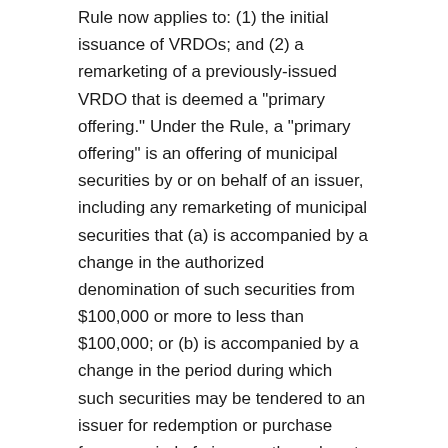Rule now applies to: (1) the initial issuance of VRDOs; and (2) a remarketing of a previously-issued VRDO that is deemed a "primary offering." Under the Rule, a "primary offering" is an offering of municipal securities by or on behalf of an issuer, including any remarketing of municipal securities that (a) is accompanied by a change in the authorized denomination of such securities from $100,000 or more to less than $100,000; or (b) is accompanied by a change in the period during which such securities may be tendered to an issuer for redemption or purchase from a period of nine months or less to a period of more than nine months.
What Bonds and Notes Are Affected?
Bonds or Notes issued on or after December 1, 2010 are subject to the revised Rule. VRDOs that are issued or remarketed as a Primary Offering on or after December 1, 2010 are subject to the revised Rule.